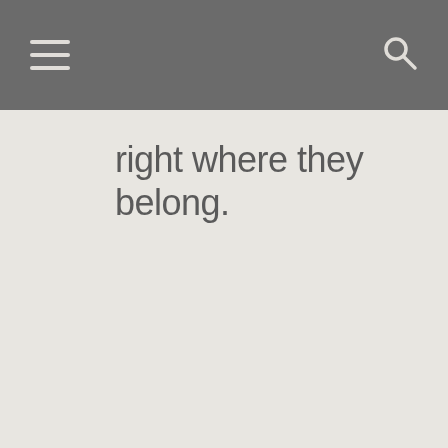[navigation bar with hamburger menu and search icon]
right where they belong.